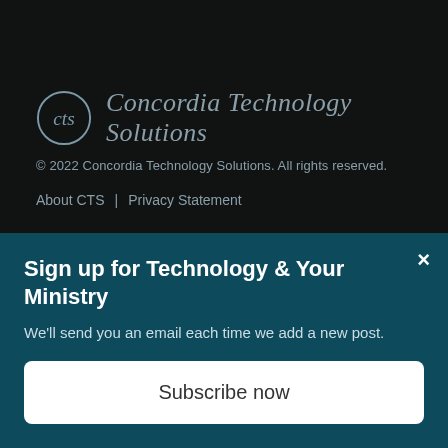[Figure (logo): CTS circular logo with 'cts' letters inside, followed by 'Concordia Technology Solutions' in italic serif font]
© 2022 Concordia Technology Solutions. All rights reserved.
About CTS  |  Privacy Statement
PRODUCTS
Church360° Members
Church360° Unite
Sign up for Technology & Your Ministry
We'll send you an email each time we add a new post.
Subscribe now